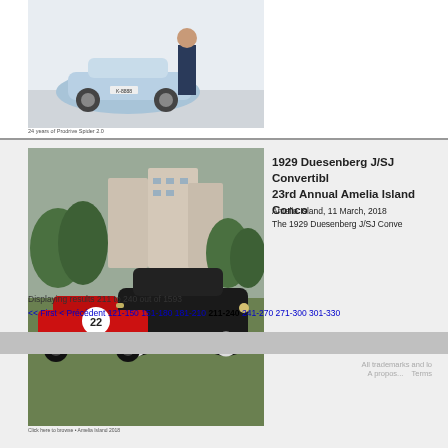[Figure (photo): Top photo showing a person standing next to a small light blue classic car in an indoor setting]
24 years of Prodrive Spider 2.0
[Figure (photo): Photo of a 1929 Duesenberg J/SJ Convertible (dark colored) alongside a red race car numbered 22 on a grass field at Amelia Island Concours]
Click here to browse • Amelia Island 2018
1929 Duesenberg J/SJ Convertibl 23rd Annual Amelia Island Conco
Amelia Island, 11 March, 2018
The 1929 Duesenberg J/SJ Conve
Displaying results 211 to 240 out of 1593
<< First  < Précédent  121-150  151-180  181-210  211-240  241-270  271-300  301-330
All trademarks and lo
A propos...    Terms